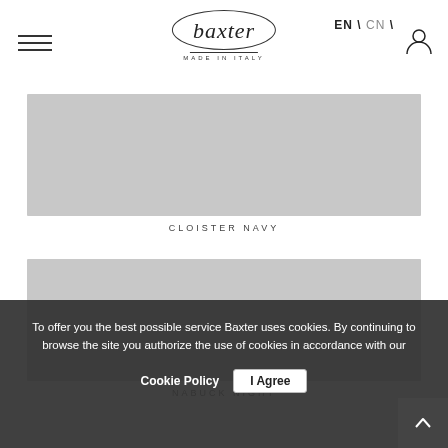EN \ CN \ [hamburger menu] [baxter made in italy logo] [user icon]
[Figure (photo): Grey placeholder image box for product 'CLOISTER NAVY']
CLOISTER NAVY
[Figure (photo): Grey placeholder image box for product 'NABUCK NIGHT']
NABUCK NIGHT
To offer you the best possible service Baxter uses cookies. By continuing to browse the site you authorize the use of cookies in accordance with our
Cookie Policy   I Agree